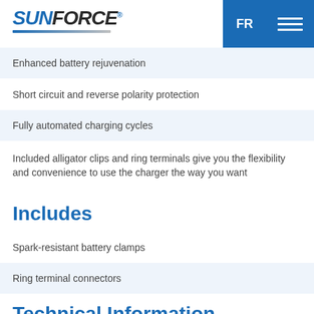SUNFORCE® FR ☰
Enhanced battery rejuvenation
Short circuit and reverse polarity protection
Fully automated charging cycles
Included alligator clips and ring terminals give you the flexibility and convenience to use the charger the way you want
Includes
Spark-resistant battery clamps
Ring terminal connectors
Technical Information